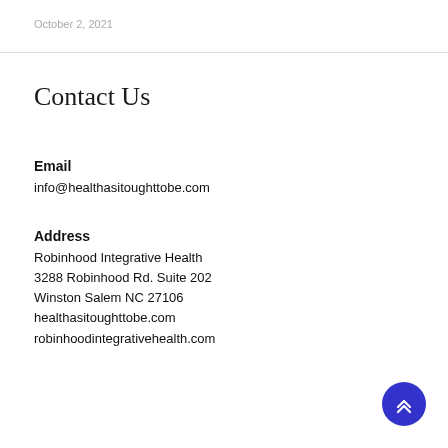October 2, 2021
Contact Us
Email
info@healthasitoughttobe.com
Address
Robinhood Integrative Health
3288 Robinhood Rd. Suite 202
Winston Salem NC 27106
healthasitoughttobe.com
robinhoodintegrativehealth.com
[Figure (other): Blue circular back-to-top button with double chevron arrow pointing up]